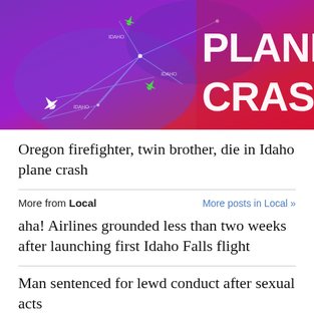[Figure (illustration): Plane crash graphic with purple-to-red gradient background, green airplane icons, route lines, and large white bold text reading 'PLANE CRASH' on the right side]
Oregon firefighter, twin brother, die in Idaho plane crash
More from Local   More posts in Local »
aha! Airlines grounded less than two weeks after launching first Idaho Falls flight
Man sentenced for lewd conduct after sexual acts